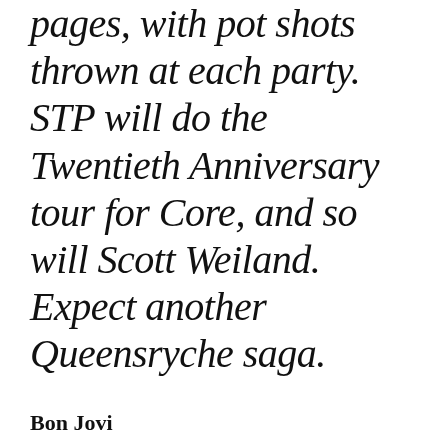pages, with pot shots thrown at each party.  STP will do the Twentieth Anniversary tour for Core, and so will Scott Weiland.  Expect another Queensryche saga.
Bon Jovi